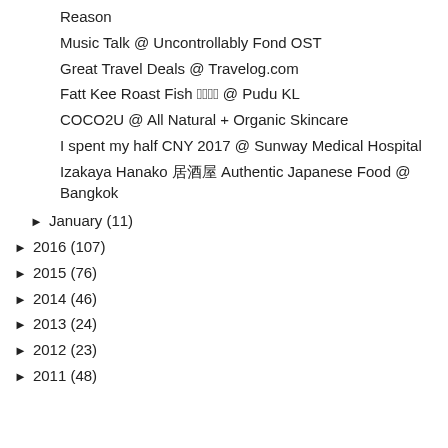Reason
Music Talk @ Uncontrollably Fond OST
Great Travel Deals @ Travelog.com
Fatt Kee Roast Fish 肥记烤鱼 @ Pudu KL
COCO2U @ All Natural + Organic Skincare
I spent my half CNY 2017 @ Sunway Medical Hospital
Izakaya Hanako 居酒屋 Authentic Japanese Food @ Bangkok
► January (11)
► 2016 (107)
► 2015 (76)
► 2014 (46)
► 2013 (24)
► 2012 (23)
► 2011 (48)